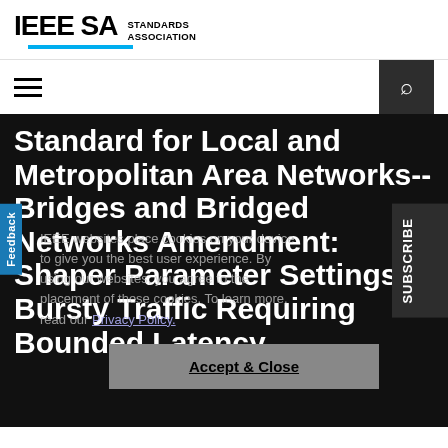IEEE SA STANDARDS ASSOCIATION
[Figure (logo): IEEE SA Standards Association logo with blue underline accent]
Standard for Local and Metropolitan Area Networks--Bridges and Bridged Networks Amendment: Shaper Parameter Settings for Bursty Traffic Requiring Bounded Latency
IEEE websites place cookies on your device to give you the best user experience. By using our websites, you agree to the placement of these cookies. To learn more, read our Privacy Policy.
Accept & Close